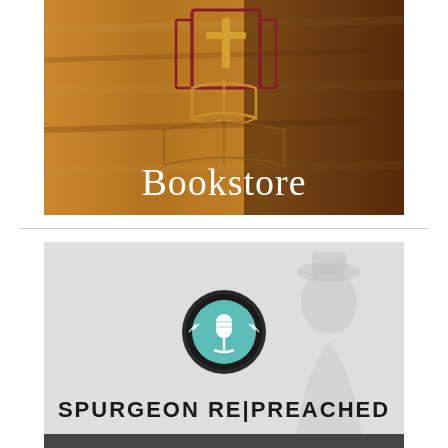[Figure (logo): Bookstore logo on wood-grain brown background with a cross and open book symbol in dark red/maroon outline and gold, with the word 'Bookstore' in white serif text below]
[Figure (logo): Spurgeon Re|Preached podcast logo on light gray background with faint silhouette of a man, featuring a teal microphone icon in a dark circular badge, and bold black text 'SPURGEON RE|PREACHED' at the bottom]